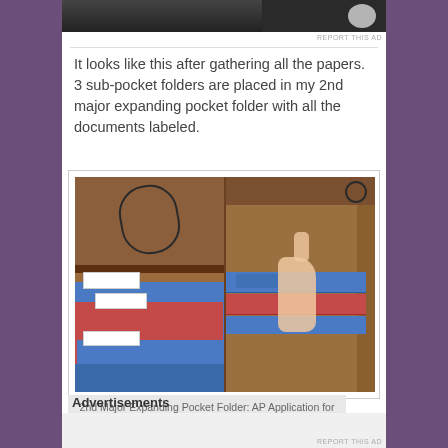[Figure (photo): Top portion of an image cut off at the top of the page]
REPORT THIS AD
It looks like this after gathering all the papers. 3 sub-pocket folders are placed in my 2nd major expanding pocket folder with all the documents labeled.
[Figure (photo): Two photos side by side: left shows a brown expanding pocket folder closed with elastic band and blue/red sub-pocket folders below it; right shows someone opening the brown folder to reveal blue, red and blue labeled tab folders inside]
2nd Major Expanding Pocket Folder: AP Application for K1 and K2 in 3 Sub-pocket Folders having all documents labeled individually
Advertisements